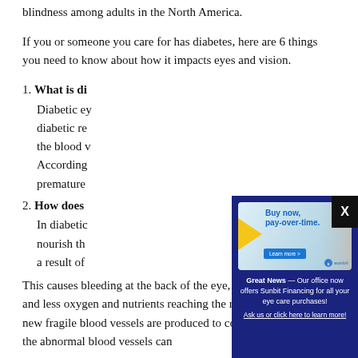blindness among adults in the North America.
If you or someone you care for has diabetes, here are 6 things you need to know about how it impacts eyes and vision.
What is di[abetic eye disease]
Diabetic ey[e disease includes] diabetic re[tinopathy which damages] the blood v[essels in the retina.] According [to studies,] premature[ly...]
How does [diabetes affect the eyes?]
In diabetic [retinopathy, the blood vessels that] nourish th[e retina weaken and leak,] a result of [high blood sugar levels.]
This causes bleeding at the back of the eye, reduced circulation and less oxygen and nutrients reaching the retina. As a result, new fragile blood vessels are produced to compensate. However, the abnormal blood vessels can
[Figure (infographic): Pop-up advertisement for Sunbit financing with 'Buy now, pay-over-time.' text and a 'Learn more' button, showing a woman with red hair smiling]
Great News — Our office now offers Sunbit Financing for all your eye care purchases! Ask us or click here to learn more!